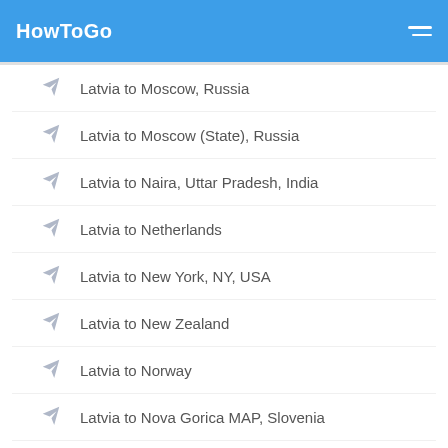HowToGo
Latvia to Moscow, Russia
Latvia to Moscow (State), Russia
Latvia to Naira, Uttar Pradesh, India
Latvia to Netherlands
Latvia to New York, NY, USA
Latvia to New Zealand
Latvia to Norway
Latvia to Nova Gorica MAP, Slovenia
Latvia to Paris, France
Latvia to Poland
Latvia to Portugal